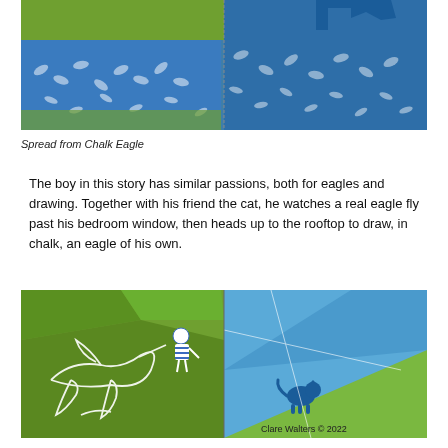[Figure (illustration): Spread from the picture book Chalk Eagle showing green and blue patterned illustration with blue cat/eagle silhouette on rooftop, two-page spread with leaf-patterned fabric in blue and green tones.]
Spread from Chalk Eagle
The boy in this story has similar passions, both for eagles and drawing. Together with his friend the cat, he watches a real eagle fly past his bedroom window, then heads up to the rooftop to draw, in chalk, an eagle of his own.
[Figure (illustration): Spread from Chalk Eagle showing a rooftop scene in green and blue geometric shapes. A boy in striped shirt draws with chalk on a green rooftop surface; white chalk lines form an eagle outline. A blue cat silhouette sits on a rooftop edge against a blue sky. Bottom right shows Clare Walters © 2022.]